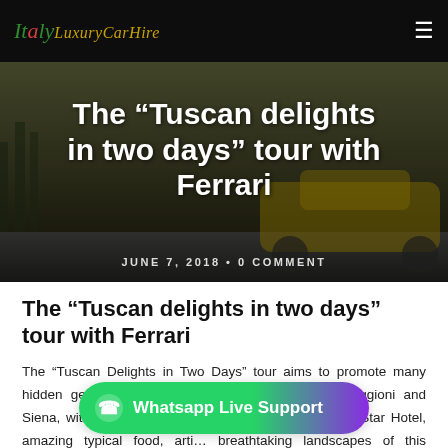Italy Luxury Car Hire
The “Tuscan delights in two days” tour with Ferrari
JUNE 7, 2018 • 0 COMMENT
The “Tuscan delights in two days” tour with Ferrari
The “Tuscan Delights in Two Days” tour aims to promote many hidden gems in Tuscany such as Pitigliano, Monteriggioni and Siena, with a beautiful two-day excursion, a refined 5 Star Hotel, amazing typical food, arti… breathtaking landscapes of this worldwide known region. This trip will be unforgettable also thanks to